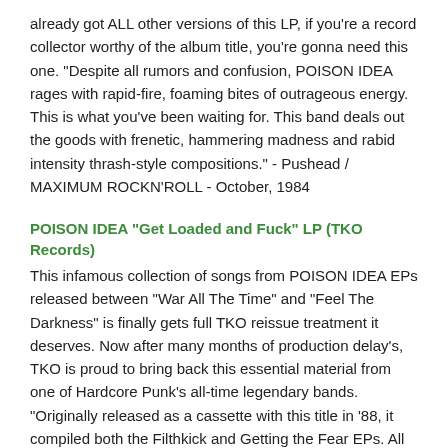already got ALL other versions of this LP, if you're a record collector worthy of the album title, you're gonna need this one. "Despite all rumors and confusion, POISON IDEA rages with rapid-fire, foaming bites of outrageous energy. This is what you've been waiting for. This band deals out the goods with frenetic, hammering madness and rabid intensity thrash-style compositions." - Pushead / MAXIMUM ROCKN'ROLL - October, 1984
POISON IDEA "Get Loaded and Fuck" LP (TKO Records)
This infamous collection of songs from POISON IDEA EPs released between "War All The Time" and "Feel The Darkness" is finally gets full TKO reissue treatment it deserves. Now after many months of production delay's, TKO is proud to bring back this essential material from one of Hardcore Punk's all-time legendary bands. "Originally released as a cassette with this title in '88, it compiled both the Filthkick and Getting the Fear EPs. All of this was further released on the widely available Ian MacKaye 12"...these are some of the best POISON IDEA songs ever. No, for real. So give it to your little cousins, buy them underage booze, and let them loose to spread hate and venom on a world that truly deserves it. God bless Pig. God bless Slayer Hippy. Amen." - Rotten Ron / MAXIMUM ROCKN'ROLL
STRAW MAN ARMY "SOS" LP (D4MT Labs, INC)